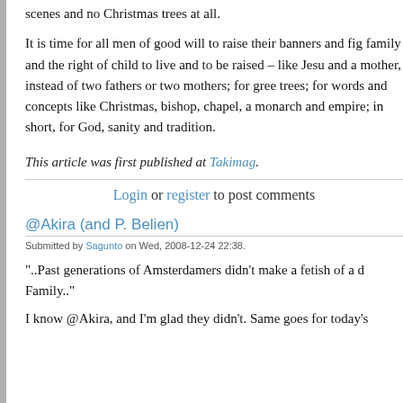scenes and no Christmas trees at all.
It is time for all men of good will to raise their banners and fig family and the right of child to live and to be raised – like Jesu and a mother, instead of two fathers or two mothers; for gree trees; for words and concepts like Christmas, bishop, chapel, a monarch and empire; in short, for God, sanity and tradition.
This article was first published at Takimag.
Login or register to post comments
@Akira (and P. Belien)
Submitted by Sagunto on Wed, 2008-12-24 22:38.
"..Past generations of Amsterdamers didn't make a fetish of a d Family.."
I know @Akira, and I'm glad they didn't. Same goes for today's